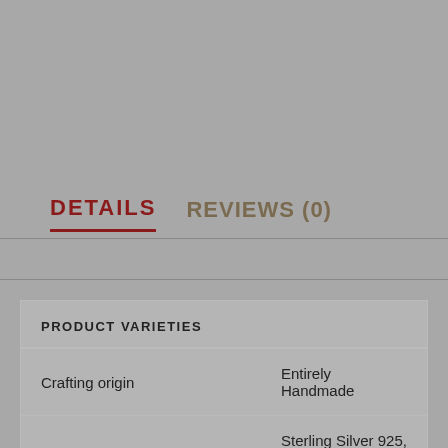DETAILS    REVIEWS (0)
| PRODUCT VARIETIES |  |
| --- | --- |
| Crafting origin | Entirely Handmade |
| Metal | Sterling Silver 925, Yellow Gold, White Gold |
| Varieties |  |